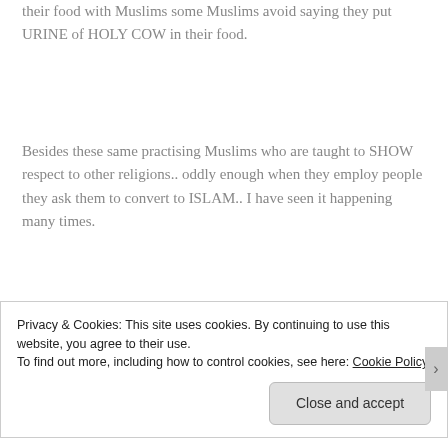their food with Muslims some Muslims avoid saying they put URINE of HOLY COW in their food.
Besides these same practising Muslims who are taught to SHOW respect to other religions.. oddly enough when they employ people they ask them to convert to ISLAM.. I have seen it happening many times.
I have also seen it in IJTEMA in Durban,
Privacy & Cookies: This site uses cookies. By continuing to use this website, you agree to their use.
To find out more, including how to control cookies, see here: Cookie Policy
Close and accept